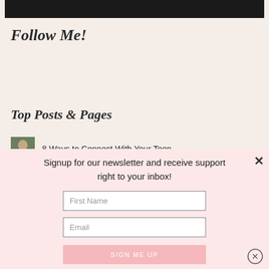[Figure (photo): Dark photo partially visible at top of page]
Follow Me!
Top Posts & Pages
[Figure (photo): Small thumbnail of a person outdoors]
8 Ways to Connect With Your Teen
Signup for our newsletter and receive support right to your inbox!
First Name
Email
SIGN ME UP